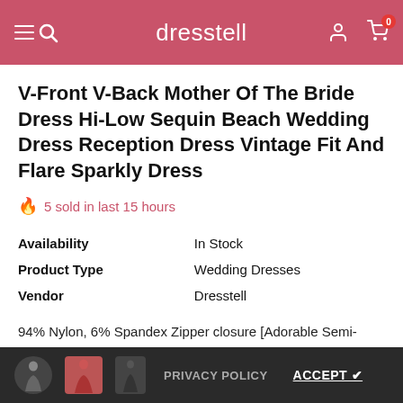dresstell
V-Front V-Back Mother Of The Bride Dress Hi-Low Sequin Beach Wedding Dress Reception Dress Vintage Fit And Flare Sparkly Dress
🔥 5 sold in last 15 hours
| Availability | In Stock |
| Product Type | Wedding Dresses |
| Vendor | Dresstell |
94% Nylon, 6% Spandex Zipper closure [Adorable Semi-Formal Dress]: Bridesmaid dresses are featured by V-Front, V-Back, Upper sequin, hi-low hem, and a-line shape, which works well for your da...
Color *
PRIVACY POLICY   ACCEPT ✔